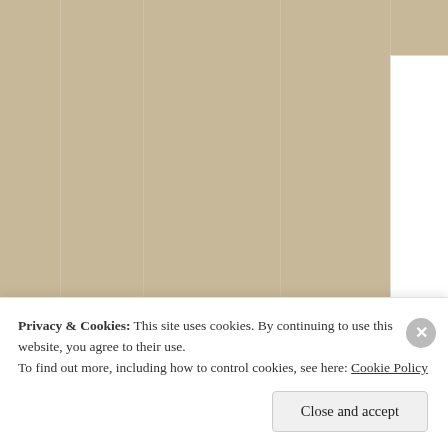[Figure (logo): Singular Zone website screenshot showing a decorative gold/olive geometric pattern logo on the left and the site title 'singular zone' in bold black text on the right, with a date '09/06/202...' in gray below. Background shows a grid of vertical lines on the left side in tan/beige color.]
Privacy & Cookies: This site uses cookies. By continuing to use this website, you agree to their use.
To find out more, including how to control cookies, see here: Cookie Policy
Close and accept